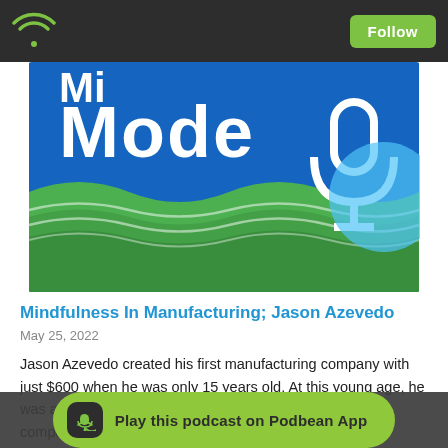Follow
[Figure (illustration): Podcast cover art showing 'Mode' text on blue background with green wavy section and white microphone silhouette]
Mindfulness In Manufacturing; Jason Azevedo
May 25, 2022
Jason Azevedo created his first manufacturing company with just $600 when he was only 15 years old. At this young age, he was able to establish business with some of the greatest companies in the world such as Starbucks, Nike, Disney, Marvel, Volkswagen, Audi, Lucas films, dodgers, and NBA teams. By the time he was 20 he was already making millions in revenue.
Jason is o... he owns and operate... the Mal standing Hi... (IN
Play this podcast on Podbean App